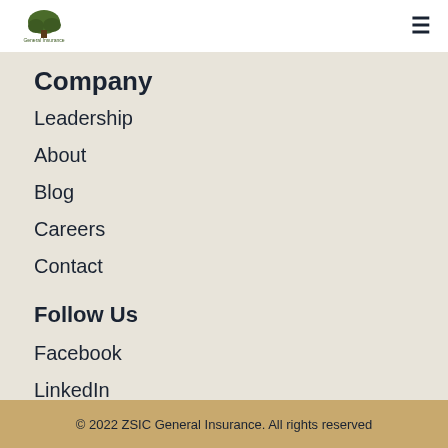General Insurance logo and navigation menu
Company
Leadership
About
Blog
Careers
Contact
Follow Us
Facebook
LinkedIn
© 2022 ZSIC General Insurance. All rights reserved